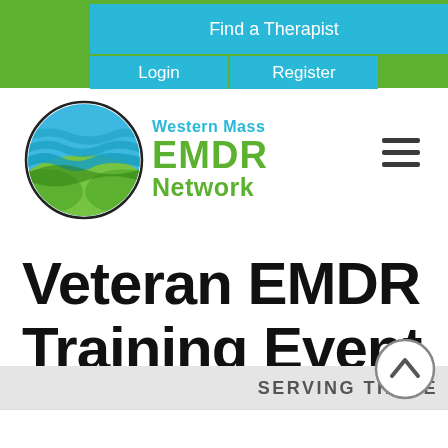Find a Therapist | Login | Register
[Figure (logo): Western Mass EMDR Network logo — circular emblem with green hills and blue waves, with text 'Western Mass EMDR Network' in teal and green]
Veteran EMDR Training Event
SERVING THOSE